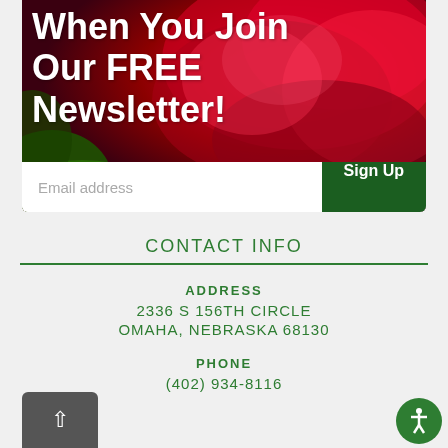[Figure (photo): Red rose close-up photo used as banner background with white bold text overlay reading 'When You Join Our FREE Newsletter!' and a white email input field with dark green 'Sign Up' button at the bottom]
CONTACT INFO
ADDRESS
2336 S 156TH CIRCLE
OMAHA, NEBRASKA 68130
PHONE
(402) 934-8116